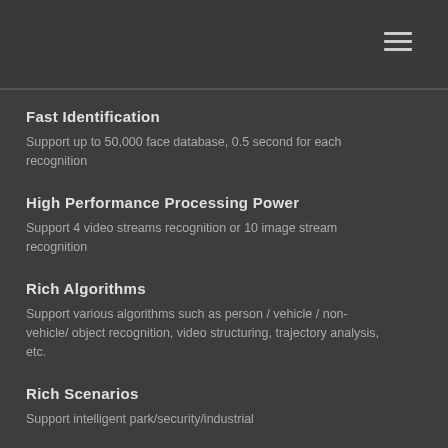Fast Identification
Support up to 50,000 face database, 0.5 second for each recognition
High Performance Processing Power
Support 4 video streams recognition or 10 image stream recognition
Rich Algorithms
Support various algorithms such as person / vehicle / non-vehicle/ object recognition, video structuring, trajectory analysis, etc.
Rich Scenarios
Support intelligent park/security/industrial